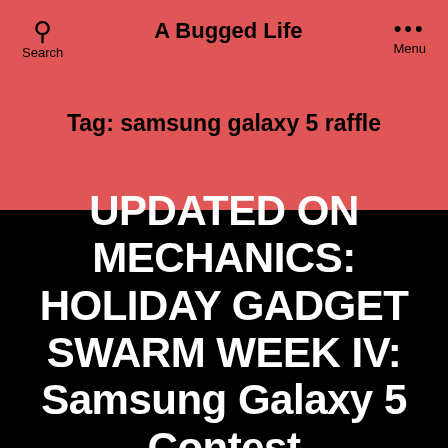A Bugged Life
Tag: samsung galaxy 5 raffle
UPDATED ON MECHANICS: HOLIDAY GADGET SWARM WEEK IV: Samsung Galaxy 5 Contest